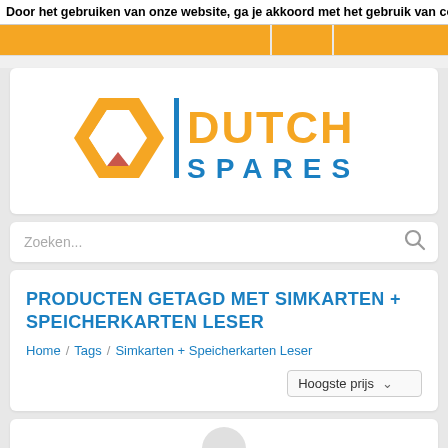Door het gebruiken van onze website, ga je akkoord met het gebruik van cooki
[Figure (logo): Dutch Spares logo: orange hexagonal D shape with blue vertical bar and orange DUTCH text above blue SPARES text]
Zoeken...
PRODUCTEN GETAGD MET SIMKARTEN + SPEICHERKARTEN LESER
Home / Tags / Simkarten + Speicherkarten Leser
Hoogste prijs